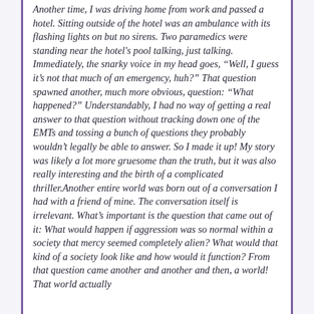Another time, I was driving home from work and passed a hotel. Sitting outside of the hotel was an ambulance with its flashing lights on but no sirens. Two paramedics were standing near the hotel's pool talking, just talking. Immediately, the snarky voice in my head goes, “Well, I guess it’s not that much of an emergency, huh?” That question spawned another, much more obvious, question: “What happened?” Understandably, I had no way of getting a real answer to that question without tracking down one of the EMTs and tossing a bunch of questions they probably wouldn’t legally be able to answer. So I made it up! My story was likely a lot more gruesome than the truth, but it was also really interesting and the birth of a complicated thriller.Another entire world was born out of a conversation I had with a friend of mine. The conversation itself is irrelevant. What’s important is the question that came out of it: What would happen if aggression was so normal within a society that mercy seemed completely alien? What would that kind of a society look like and how would it function? From that question came another and another and then, a world! That world actually had a little to do with the concept of...